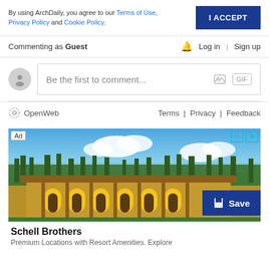By using ArchDaily, you agree to our Terms of Use, Privacy Policy and Cookie Policy.
I ACCEPT
Commenting as Guest
Log in | Sign up
Be the first to comment...
OpenWeb   Terms | Privacy | Feedback
[Figure (photo): Advertisement showing Schell Brothers property with building featuring yellow arched windows, surrounded by trees and blue sky. Save button overlay. Ad label in top-left.]
Schell Brothers
Premium Locations with Resort Amenities. Explore